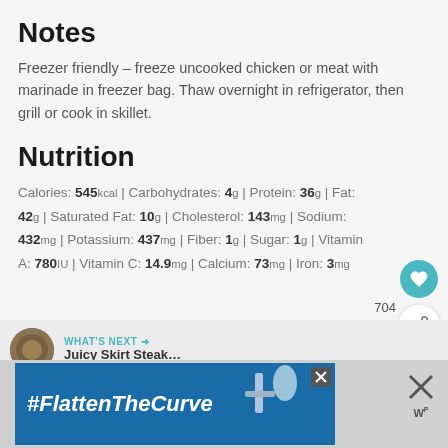Notes
Freezer friendly – freeze uncooked chicken or meat with marinade in freezer bag. Thaw overnight in refrigerator, then grill or cook in skillet.
Nutrition
Calories: 545kcal | Carbohydrates: 4g | Protein: 36g | Fat: 42g | Saturated Fat: 10g | Cholesterol: 143mg | Sodium: 432mg | Potassium: 437mg | Fiber: 1g | Sugar: 1g | Vitamin A: 780IU | Vitamin C: 14.9mg | Calcium: 73mg | Iron: 3mg
[Figure (other): What's Next promotional box with Juicy Skirt Steak thumbnail]
[Figure (other): Ad banner with #FlattenTheCurve hashtag and faucet/handwashing image]